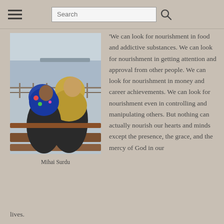Search
[Figure (photo): Two women wearing hijabs sitting on a bench, viewed from behind, looking out toward water with a railing and hazy horizon in the background.]
Mihai Surdu
'We can look for nourishment in food and addictive substances. We can look for nourishment in getting attention and approval from other people. We can look for nourishment in money and career achievements. We can look for nourishment even in controlling and manipulating others. But nothing can actually nourish our hearts and minds except the presence, the grace, and the mercy of God in our lives.